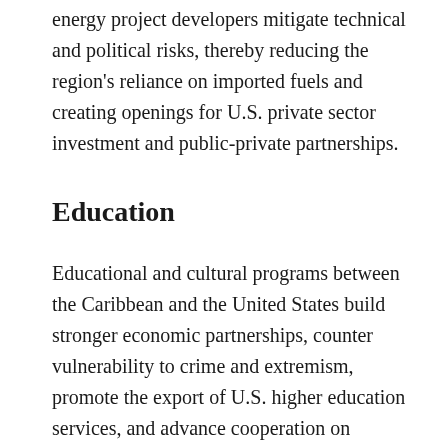energy project developers mitigate technical and political risks, thereby reducing the region's reliance on imported fuels and creating openings for U.S. private sector investment and public-private partnerships.
Education
Educational and cultural programs between the Caribbean and the United States build stronger economic partnerships, counter vulnerability to crime and extremism, promote the export of U.S. higher education services, and advance cooperation on science, technology, and development.